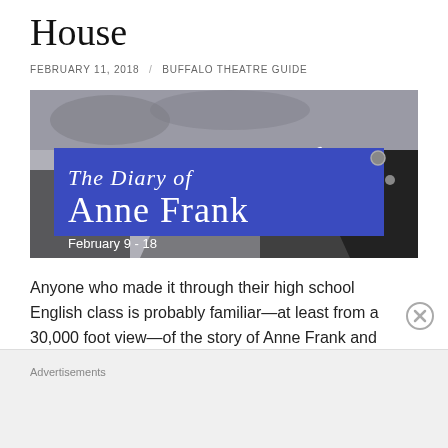House
FEBRUARY 11, 2018 / BUFFALO THEATRE GUIDE
[Figure (photo): Promotional banner image for 'The Diary of Anne Frank' theatre production. Blue rectangle with script text 'The Diary of' and large serif text 'Anne Frank'. Subtitle reads 'February 9 - 18'. Background is a stylized black and grey silhouette of a person.]
Anyone who made it through their high school English class is probably familiar—at least from a 30,000 foot view—of the story of Anne Frank and her family. If you're like me, your memory of her story is relatively
Advertisements